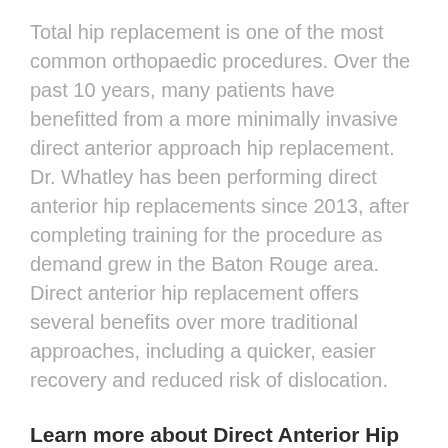Total hip replacement is one of the most common orthopaedic procedures. Over the past 10 years, many patients have benefitted from a more minimally invasive direct anterior approach hip replacement. Dr. Whatley has been performing direct anterior hip replacements since 2013, after completing training for the procedure as demand grew in the Baton Rouge area. Direct anterior hip replacement offers several benefits over more traditional approaches, including a quicker, easier recovery and reduced risk of dislocation.
Learn more about Direct Anterior Hip Replacement»